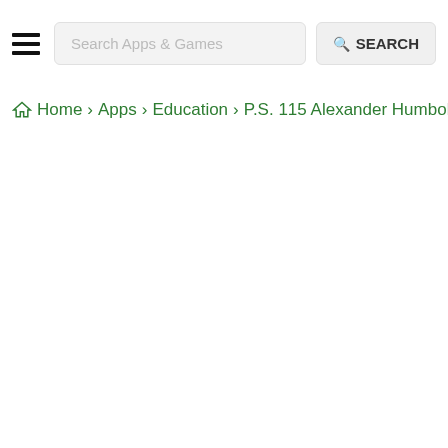Search Apps & Games | SEARCH
Home › Apps › Education › P.S. 115 Alexander Humboldt APK